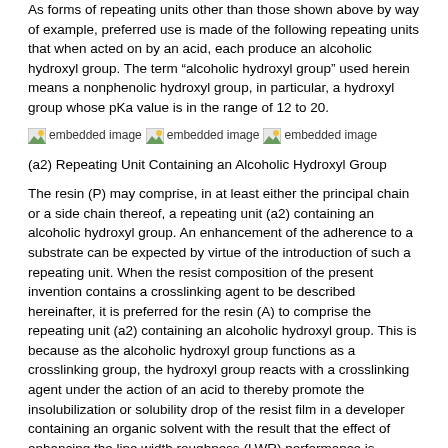As forms of repeating units other than those shown above by way of example, preferred use is made of the following repeating units that when acted on by an acid, each produce an alcoholic hydroxyl group. The term “alcoholic hydroxyl group” used herein means a nonphenolic hydroxyl group, in particular, a hydroxyl group whose pKa value is in the range of 12 to 20.
[Figure (illustration): Three embedded chemical structure images shown inline]
(a2) Repeating Unit Containing an Alcoholic Hydroxyl Group
The resin (P) may comprise, in at least either the principal chain or a side chain thereof, a repeating unit (a2) containing an alcoholic hydroxyl group. An enhancement of the adherence to a substrate can be expected by virtue of the introduction of such a repeating unit. When the resist composition of the present invention contains a crosslinking agent to be described hereinafter, it is preferred for the resin (A) to comprise the repeating unit (a2) containing an alcoholic hydroxyl group. This is because as the alcoholic hydroxyl group functions as a crosslinking group, the hydroxyl group reacts with a crosslinking agent under the action of an acid to thereby promote the insolubilization or solubility drop of the resist film in a developer containing an organic solvent with the result that the effect of enhancing the line width roughness (LWR) performance is exerted.
In the present invention, the alcoholic hydroxyl group is not limited as long